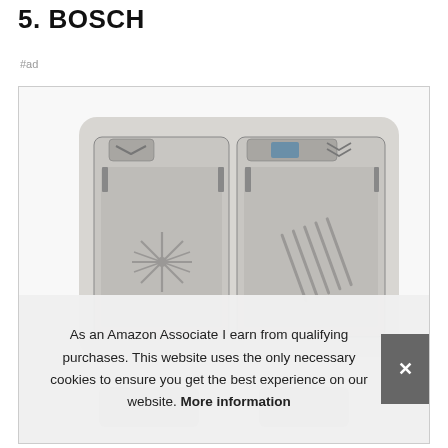5. BOSCH
#ad
[Figure (photo): Photo of a Bosch dishwasher detergent dispenser unit showing two white plastic compartments with icons — a starburst/rinse aid symbol on the left and diagonal lines on the right, with a blue indicator window and chevron-style buttons on top.]
As an Amazon Associate I earn from qualifying purchases. This website uses the only necessary cookies to ensure you get the best experience on our website. More information